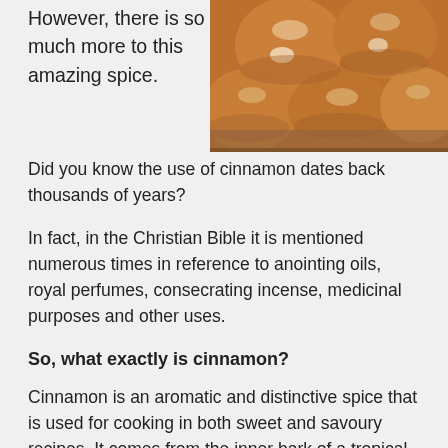However, there is so much more to this amazing spice.
[Figure (photo): A box of round fried pastries/donuts dusted with powdered sugar, viewed from above.]
Did you know the use of cinnamon dates back thousands of years?
In fact, in the Christian Bible it is mentioned numerous times in reference to anointing oils, royal perfumes, consecrating incense, medicinal purposes and other uses.
So, what exactly is cinnamon?
Cinnamon is an aromatic and distinctive spice that is used for cooking in both sweet and savoury recipes. It comes from the inner bark of a tropical tree variety, grown in Sri Lanka, known as Cinnamomum. As